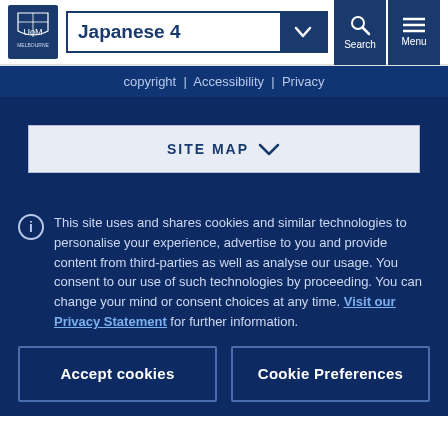University of Melbourne — Japanese 4
copyright | Accessibility | Privacy
SITE MAP
This site uses and shares cookies and similar technologies to personalise your experience, advertise to you and provide content from third-parties as well as analyse our usage. You consent to our use of such technologies by proceeding. You can change your mind or consent choices at any time. Visit our Privacy Statement for further information.
Accept cookies
Cookie Preferences